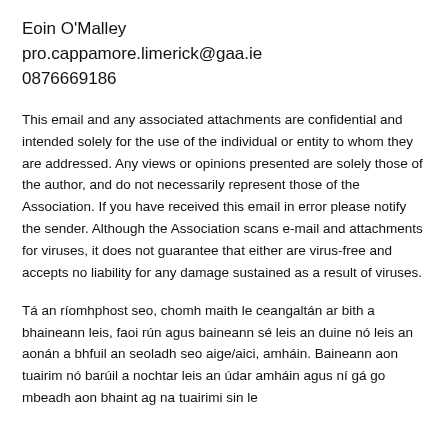Eoin O'Malley
pro.cappamore.limerick@gaa.ie
0876669186
This email and any associated attachments are confidential and intended solely for the use of the individual or entity to whom they are addressed. Any views or opinions presented are solely those of the author, and do not necessarily represent those of the Association. If you have received this email in error please notify the sender. Although the Association scans e-mail and attachments for viruses, it does not guarantee that either are virus-free and accepts no liability for any damage sustained as a result of viruses.
Tá an ríomhphost seo, chomh maith le ceangaltán ar bith a bhaineann leis, faoi rún agus baineann sé leis an duine nó leis an aonán a bhfuil an seoladh seo aige/aici, amháin. Baineann aon tuairim nó barúil a nochtar leis an údar amháin agus ní gá go mbeadh aon bhaint ag na tuairimi sin le